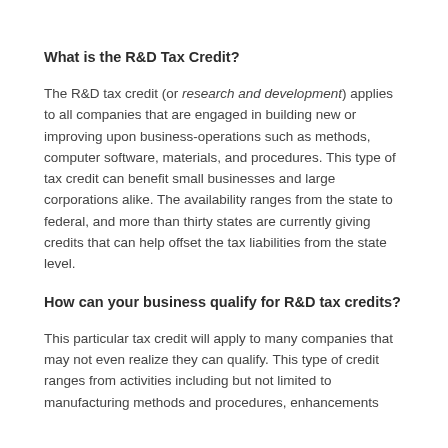What is the R&D Tax Credit?
The R&D tax credit (or research and development) applies to all companies that are engaged in building new or improving upon business-operations such as methods, computer software, materials, and procedures. This type of tax credit can benefit small businesses and large corporations alike. The availability ranges from the state to federal, and more than thirty states are currently giving credits that can help offset the tax liabilities from the state level.
How can your business qualify for R&D tax credits?
This particular tax credit will apply to many companies that may not even realize they can qualify. This type of credit ranges from activities including but not limited to manufacturing methods and procedures, enhancements…